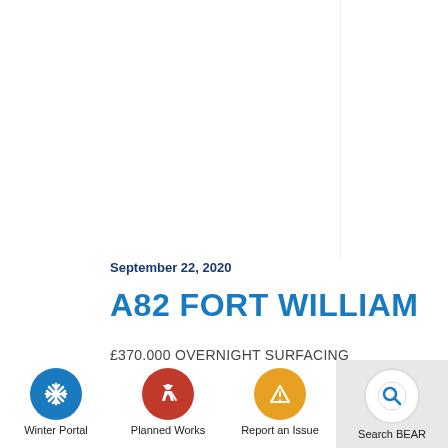September 22, 2020
A82 FORT WILLIAM
£370,000 OVERNIGHT SURFACING
[Figure (infographic): Navigation icons at the bottom: Winter Portal (blue circle with snowflake), Planned Works (red circle with construction worker), Report an Issue (yellow circle with warning triangle), Search BEAR (grey background with white search circle and blue magnifier)]